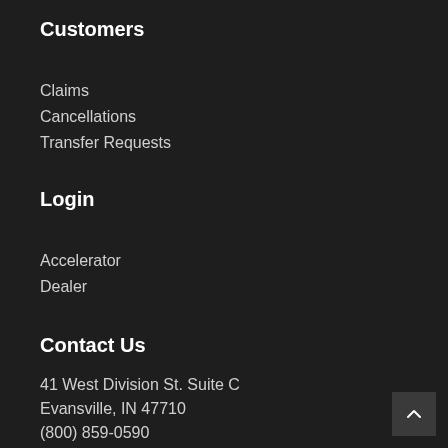Customers
Claims
Cancellations
Transfer Requests
Login
Accelerator
Dealer
Contact Us
41 West Division St. Suite C
Evansville, IN 47710
(800) 859-0590